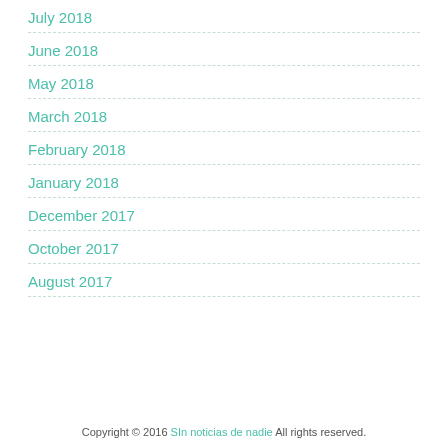July 2018
June 2018
May 2018
March 2018
February 2018
January 2018
December 2017
October 2017
August 2017
Copyright © 2016 SIn noticias de nadie All rights reserved.